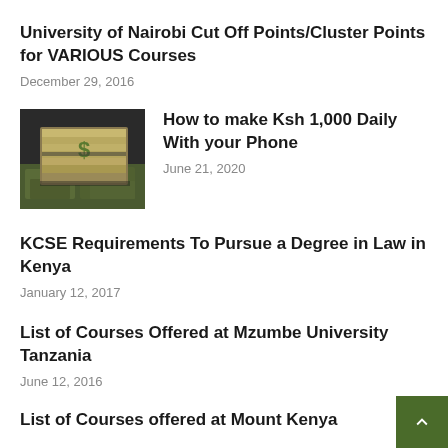University of Nairobi Cut Off Points/Cluster Points for VARIOUS Courses
December 29, 2016
[Figure (photo): A stack of money/cash bundles arranged like a book on a surface covered with dollar bills]
How to make Ksh 1,000 Daily With your Phone
June 21, 2020
KCSE Requirements To Pursue a Degree in Law in Kenya
January 12, 2017
List of Courses Offered at Mzumbe University Tanzania
June 12, 2016
List of Courses offered at Mount Kenya